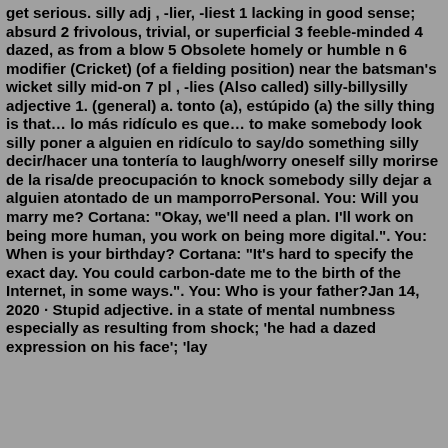get serious. silly adj , -lier, -liest 1 lacking in good sense; absurd 2 frivolous, trivial, or superficial 3 feeble-minded 4 dazed, as from a blow 5 Obsolete homely or humble n 6 modifier (Cricket) (of a fielding position) near the batsman's wicket silly mid-on 7 pl , -lies (Also called) silly-billysilly adjective 1. (general) a. tonto (a), estúpido (a) the silly thing is that… lo más ridículo es que… to make somebody look silly poner a alguien en ridículo to say/do something silly decir/hacer una tontería to laugh/worry oneself silly morirse de la risa/de preocupación to knock somebody silly dejar a alguien atontado de un mamporroPersonal. You: Will you marry me? Cortana: "Okay, we'll need a plan. I'll work on being more human, you work on being more digital.". You: When is your birthday? Cortana: "It's hard to specify the exact day. You could carbon-date me to the birth of the Internet, in some ways.". You: Who is your father?Jan 14, 2020 · Stupid adjective. in a state of mental numbness especially as resulting from shock; 'he had a dazed expression on his face'; 'lay...